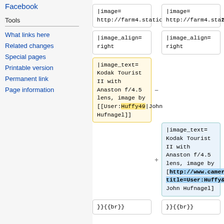Facebook
Tools
What links here
Related changes
Special pages
Printable version
Permanent link
Page information
|image= http://farm4.static.flickr.com/3160/2585137026_0507de35de.jpg
|image= http://farm4.static.flickr.com/3160/2585137026_0507de35de.jpg
|image_align= right
|image_align= right
|image_text= Kodak Tourist II with Anaston f/4.5 lens, image by [[User:Huffy49|John Hufnagel]]
|image_text= Kodak Tourist II with Anaston f/4.5 lens, image by [http://www.camerapedia.org/wiki?title=User:Huffy&action=view John Hufnagel]
}}{{br}}
}}{{br}}